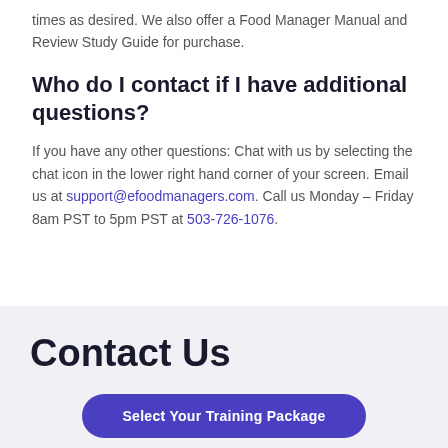times as desired. We also offer a Food Manager Manual and Review Study Guide for purchase.
Who do I contact if I have additional questions?
If you have any other questions: Chat with us by selecting the chat icon in the lower right hand corner of your screen. Email us at support@efoodmanagers.com. Call us Monday – Friday 8am PST to 5pm PST at 503-726-1076.
Contact Us
Select Your Training Package